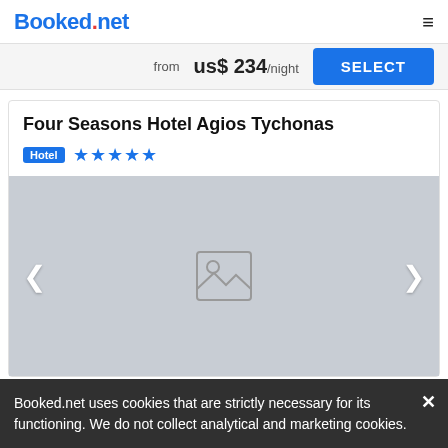Booked.net
from  us$ 234/night
Four Seasons Hotel Agios Tychonas
Hotel  ★★★★★
[Figure (photo): Hotel image placeholder with image icon, navigation arrows left and right on grey background]
Booked.net uses cookies that are strictly necessary for its functioning. We do not collect analytical and marketing cookies.